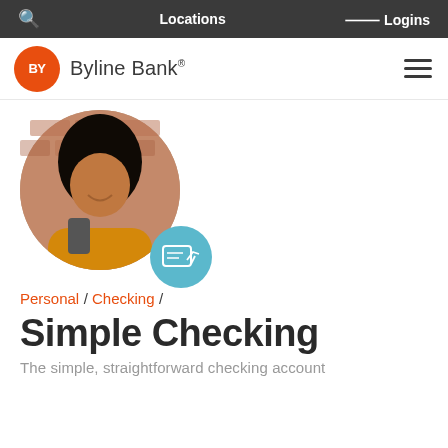🔍  Locations  ⌄ Logins
[Figure (logo): Byline Bank logo: orange circle with BY initials followed by Byline Bank text, and hamburger menu icon on the right]
[Figure (photo): Circular photo of a smiling woman with curly hair holding a smartphone, with a light blue circle badge showing a check/pen icon overlay in the bottom right]
Personal / Checking /
Simple Checking
The simple, straightforward checking account